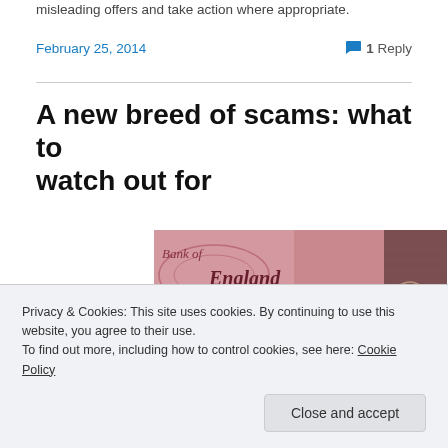misleading offers and take action where appropriate.
February 25, 2014
1 Reply
A new breed of scams: what to watch out for
[Figure (photo): Close-up photograph of a Bank of England fifty pound note showing text 'Bank of England', 'England', 'ON DEMAND THE SUM OF', and 'FIFTY' in red lettering.]
Privacy & Cookies: This site uses cookies. By continuing to use this website, you agree to their use.
To find out more, including how to control cookies, see here: Cookie Policy